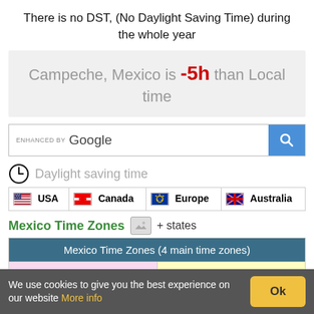There is no DST, (No Daylight Saving Time) during the whole year
Campeche, Mexico is -5h than Local time
[Figure (screenshot): ENHANCED BY Google search bar with blue search button]
Daylight saving time
| USA | Canada | Europe | Australia |
| --- | --- | --- | --- |
Mexico Time Zones + states
| Mexico Time Zones (4 main time zones) |
| --- |
| Pacific Time B.C. | Eastern Time Q.R. |
| Mountain Ti... | Central Time (part... |
We use cookies to give you the best experience on our website More info